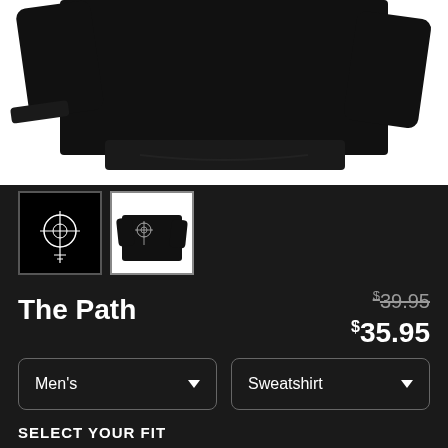[Figure (photo): Black sweatshirt product photo on white background, cropped showing the bottom half of the garment]
[Figure (photo): Thumbnail 1: Black background with white circular crosshair/sigil design]
[Figure (photo): Thumbnail 2: Black sweatshirt with white circular crosshair/sigil design on left chest]
The Path
$39.95 (strikethrough original price)
$35.95 (sale price)
Men's (dropdown)
Sweatshirt (dropdown)
SELECT YOUR FIT